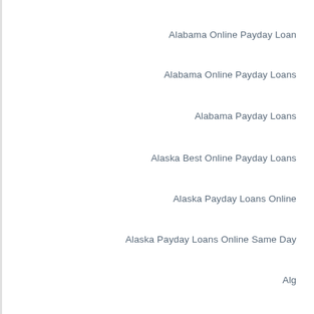Alabama Online Payday Loan
Alabama Online Payday Loans
Alabama Payday Loans
Alaska Best Online Payday Loans
Alaska Payday Loans Online
Alaska Payday Loans Online Same Day
Alg
allied cash advance i need a payday loan immediately
allied cash advance payday loan online